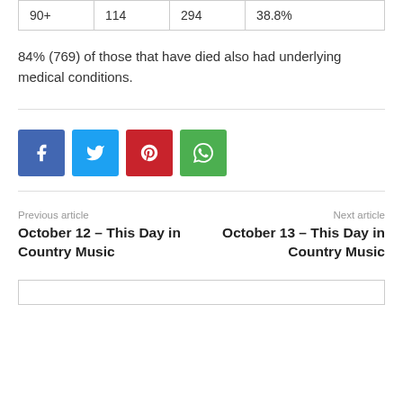| 90+ | 114 | 294 | 38.8% |
84% (769) of those that have died also had underlying medical conditions.
[Figure (infographic): Social media share buttons: Facebook (blue), Twitter (light blue), Pinterest (red), WhatsApp (green)]
Previous article
October 12 – This Day in Country Music
Next article
October 13 – This Day in Country Music